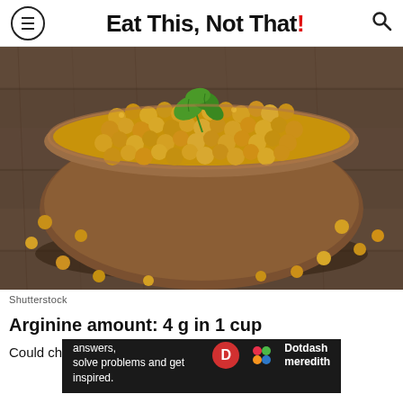Eat This, Not That!
[Figure (photo): A wooden bowl filled with roasted golden chickpeas, garnished with fresh parsley, set on a rustic wooden surface with scattered chickpeas around it.]
Shutterstock
Arginine amount: 4 g in 1 cup
Could chickpeas be nature's Viagra... per